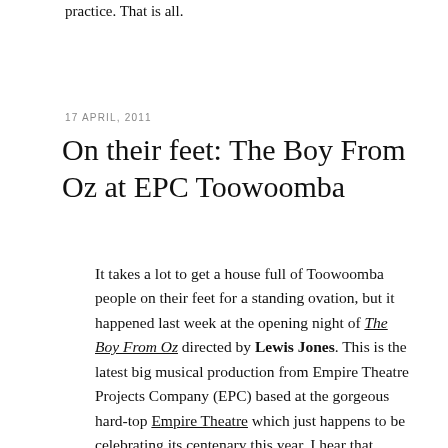practice. That is all.
17 APRIL, 2011
On their feet: The Boy From Oz at EPC Toowoomba
It takes a lot to get a house full of Toowoomba people on their feet for a standing ovation, but it happened last week at the opening night of The Boy From Oz directed by Lewis Jones. This is the latest big musical production from Empire Theatre Projects Company (EPC) based at the gorgeous hard-top Empire Theatre which just happens to be celebrating its centenary this year. I hear that audiences stood again at subsequent performances.